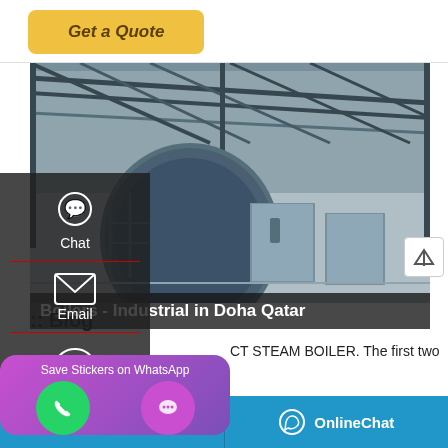Get a Quote
[Figure (photo): Industrial warehouse interior showing large cylindrical blue steam boiler and grey metal enclosures on a factory floor with steel roof trusses]
Boilers - Industrial in Doha Qatar
:: Blog
CT STEAM BOILER. The first two
[Figure (screenshot): WhatsApp sticker save popup with purple/pink gradient background showing phone and chat icons]
Leave Message   OnlineChat